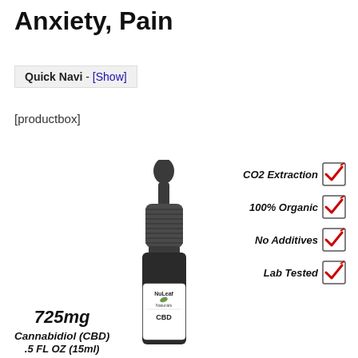Anxiety, Pain
Quick Navi - [Show]
[productbox]
[Figure (photo): NuLeaf Naturals CBD oil dropper bottle (725mg, .5 FL OZ / 15ml) with a dark dropper top and white label showing 'NuLeaf Naturals CBD', accompanied by a checklist of features: CO2 Extraction, 100% Organic, No Additives, Lab Tested — each with a checked checkbox.]
725mg
Cannabidiol (CBD)
.5 FL OZ (15ml)